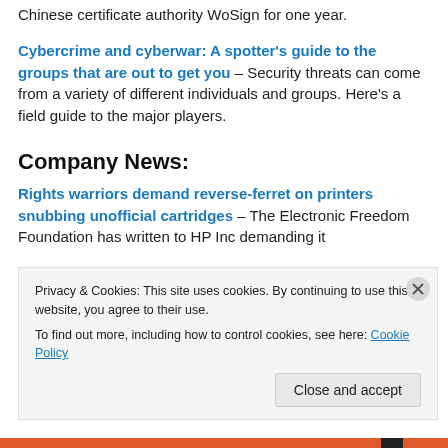Chinese certificate authority WoSign for one year.
Cybercrime and cyberwar: A spotter's guide to the groups that are out to get you – Security threats can come from a variety of different individuals and groups. Here's a field guide to the major players.
Company News:
Rights warriors demand reverse-ferret on printers snubbing unofficial cartridges – The Electronic Freedom Foundation has written to HP Inc demanding it
Privacy & Cookies: This site uses cookies. By continuing to use this website, you agree to their use.
To find out more, including how to control cookies, see here: Cookie Policy
Close and accept